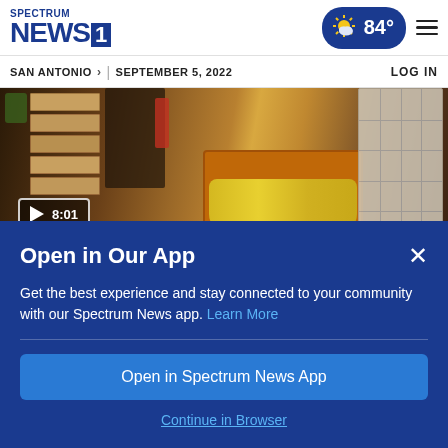Spectrum NEWS1 | SAN ANTONIO > | SEPTEMBER 5, 2022 | 84° | LOG IN
[Figure (photo): Food bank warehouse with stacked cardboard boxes and a box of bananas in the foreground. Video play button shows 8:01 duration.]
CAPITAL TONIGHT
Open in Our App
Get the best experience and stay connected to your community with our Spectrum News app. Learn More
Open in Spectrum News App
Continue in Browser